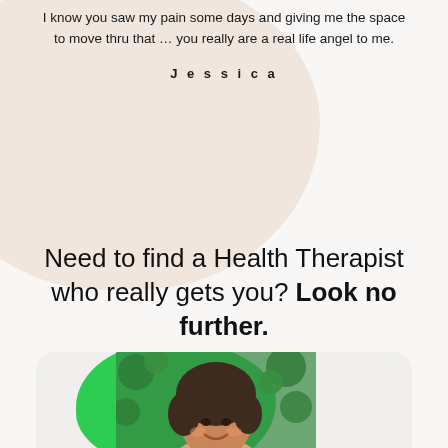I know you saw my pain some days and giving me the space to move thru that … you really are a real life angel to me.
Jessica
Need to find a Health Therapist who really gets you? Look no further.
[Figure (photo): A smiling woman with curly hair photographed outdoors in front of green foliage, displayed within a rounded card with a bright green blob shape behind her.]